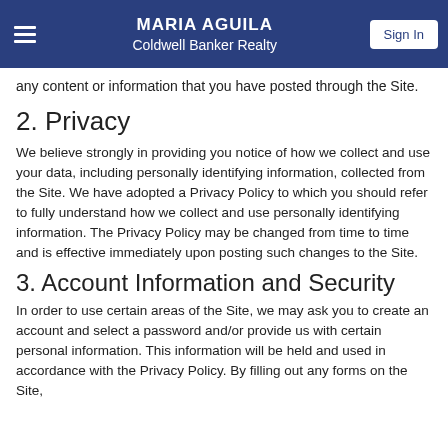MARIA AGUILA
Coldwell Banker Realty
any content or information that you have posted through the Site.
2. Privacy
We believe strongly in providing you notice of how we collect and use your data, including personally identifying information, collected from the Site. We have adopted a Privacy Policy to which you should refer to fully understand how we collect and use personally identifying information. The Privacy Policy may be changed from time to time and is effective immediately upon posting such changes to the Site.
3. Account Information and Security
In order to use certain areas of the Site, we may ask you to create an account and select a password and/or provide us with certain personal information. This information will be held and used in accordance with the Privacy Policy. By filling out any forms on the Site,